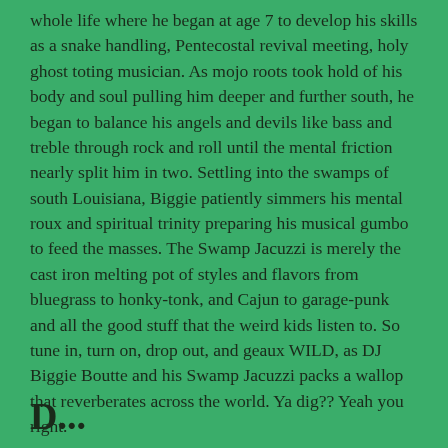whole life where he began at age 7 to develop his skills as a snake handling, Pentecostal revival meeting, holy ghost toting musician. As mojo roots took hold of his body and soul pulling him deeper and further south, he began to balance his angels and devils like bass and treble through rock and roll until the mental friction nearly split him in two. Settling into the swamps of south Louisiana, Biggie patiently simmers his mental roux and spiritual trinity preparing his musical gumbo to feed the masses. The Swamp Jacuzzi is merely the cast iron melting pot of styles and flavors from bluegrass to honky-tonk, and Cajun to garage-punk and all the good stuff that the weird kids listen to. So tune in, turn on, drop out, and geaux WILD, as DJ Biggie Boutte and his Swamp Jacuzzi packs a wallop that reverberates across the world. Ya dig?? Yeah you right.
D...